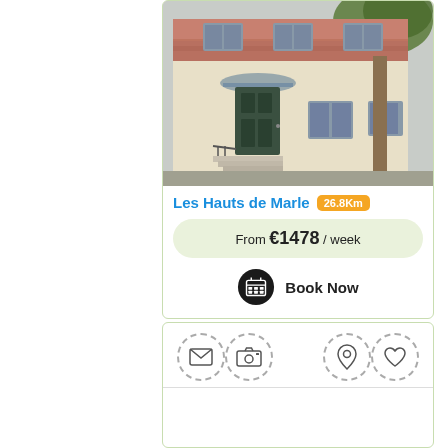[Figure (photo): Exterior photo of a French residential building with cream/beige facade, red brick accents on upper floor, dark green front door with iron railing steps, large tree on right, multiple windows]
Les Hauts de Marle 26.8Km
From €1478 / week
Book Now
[Figure (infographic): Action bar with four icon buttons: envelope/mail, camera, map pin/location, and heart/favorite icons, each inside a dashed circle border]